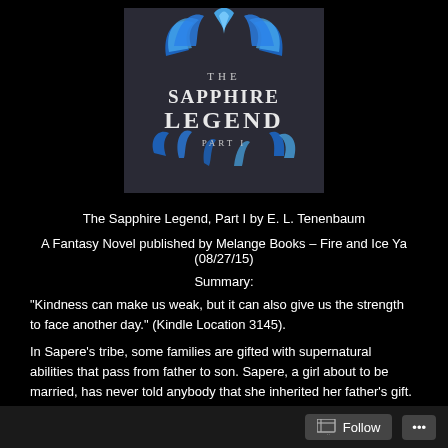[Figure (illustration): Book cover of 'The Sapphire Legend Part I' showing blue flame/fire design against dark background with stylized title text]
The Sapphire Legend, Part I by E. L. Tenenbaum
A Fantasy Novel published by Melange Books – Fire and Ice Ya (08/27/15)
Summary:
“Kindness can make us weak, but it can also give us the strength to face another day.” (Kindle Location 3145).
In Sapere’s tribe, some families are gifted with supernatural abilities that pass from father to son. Sapere, a girl about to be married, has never told anybody that she inherited her father’s gift. On the day of her wedding, the tribe is attacked and she must use her abilities to help the survivors find refuge in the
Follow •••